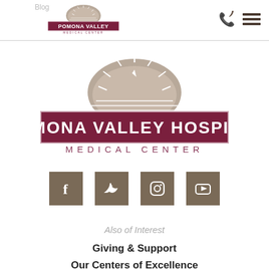Blog | Pomona Valley Hospital Medical Center
[Figure (logo): Pomona Valley Hospital Medical Center large logo with semicircle emblem above the text]
[Figure (infographic): Social media icons row: Facebook, Twitter, Instagram, YouTube on brown square backgrounds]
Also of Interest
Giving & Support
Our Centers of Excellence